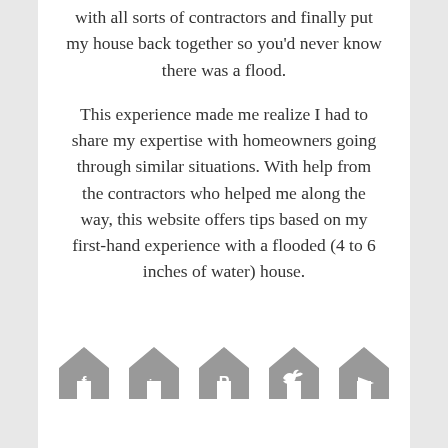with all sorts of contractors and finally put my house back together so you'd never know there was a flood.
This experience made me realize I had to share my expertise with homeowners going through similar situations. With help from the contractors who helped me along the way, this website offers tips based on my first-hand experience with a flooded (4 to 6 inches of water) house.
[Figure (infographic): Five social media icons, each styled as a house shape with a social media logo inside: Facebook (f), LinkedIn (in), Pinterest (P), Twitter (bird), YouTube (play button). Icons are gray colored.]